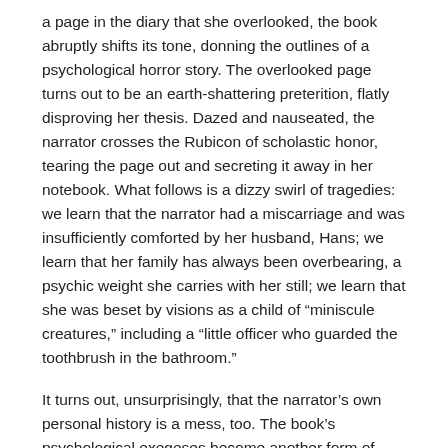a page in the diary that she overlooked, the book abruptly shifts its tone, donning the outlines of a psychological horror story. The overlooked page turns out to be an earth-shattering preterition, flatly disproving her thesis. Dazed and nauseated, the narrator crosses the Rubicon of scholastic honor, tearing the page out and secreting it away in her notebook. What follows is a dizzy swirl of tragedies: we learn that the narrator had a miscarriage and was insufficiently comforted by her husband, Hans; we learn that her family has always been overbearing, a psychic weight she carries with her still; we learn that she was beset by visions as a child of “miniscule creatures,” including a “little officer who guarded the toothbrush in the bathroom.”
It turns out, unsurprisingly, that the narrator’s own personal history is a mess, too. The book’s psychological exegeses become another form of scholarship, a scholasticism of the self. “My attempt had been to look at my existence as a past and try to revise it as a historical period,” the narrator explains. “I had meant to re-experience moments from the past, trying to break down their working parts and so discover each thread of the